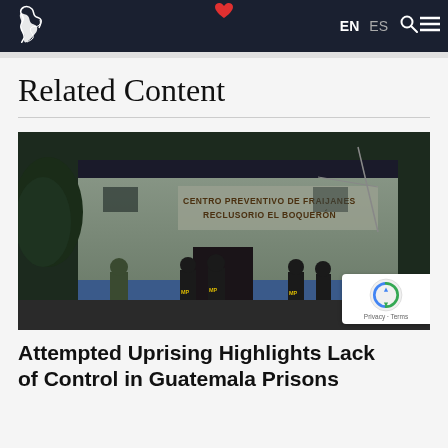EN ES (navigation bar with Latin America logo)
Related Content
[Figure (photo): Law enforcement officers in black tactical vests standing in front of a detention facility with sign reading 'CENTRO PREVENTIVO DE FRAIJANES RECLUSORIO EL BOQUERON' at night]
Attempted Uprising Highlights Lack of Control in Guatemala Prisons